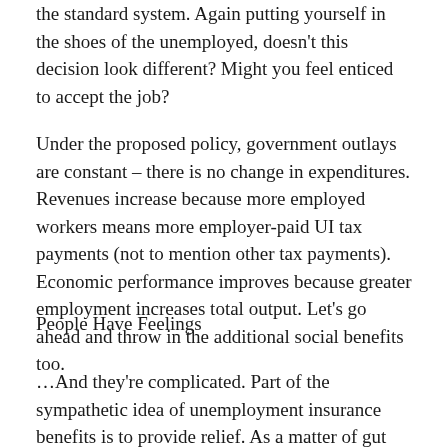the standard system. Again putting yourself in the shoes of the unemployed, doesn't this decision look different? Might you feel enticed to accept the job?
Under the proposed policy, government outlays are constant – there is no change in expenditures. Revenues increase because more employed workers means more employer-paid UI tax payments (not to mention other tax payments). Economic performance improves because greater employment increases total output. Let's go ahead and throw in the additional social benefits too.
People Have Feelings
...And they're complicated. Part of the sympathetic idea of unemployment insurance benefits is to provide relief. As a matter of gut instinct, this is why many people favor the